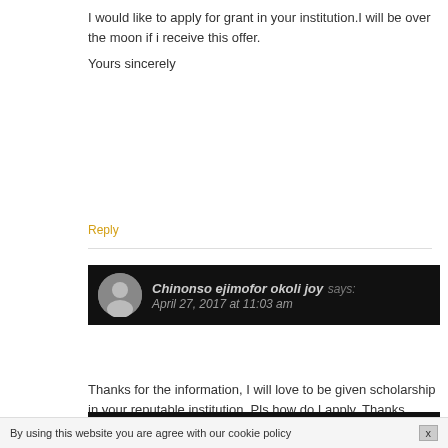I would like to apply for grant in your institution.I will be over the moon if i receive this offer.

Yours sincerely
Reply
Chinonso ejimofor okoli joy says:
April 27, 2017 at 11:03 am
Thanks for the information, I will love to be given scholarship in your reputable institution. Pls how do I apply. Thanks
Reply
wabuya seisa says:
By using this website you are agree with our cookie policy